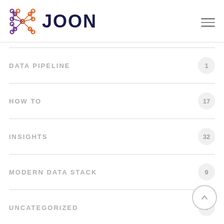JOON
DATA PIPELINE — 1
HOW TO — 17
INSIGHTS — 32
MODERN DATA STACK — 9
UNCATEGORIZED — 5
Latest Projects